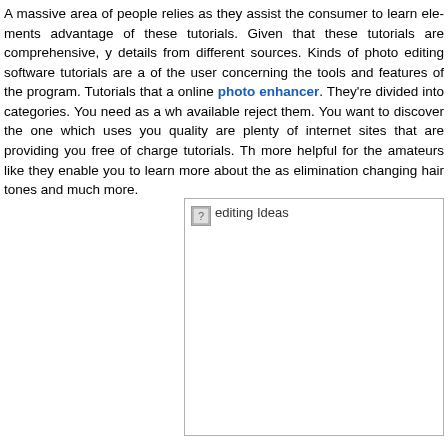A massive area of people relies as they assist the consumer to learn elements advantage of these tutorials. Given that these tutorials are comprehensive, y details from different sources. Kinds of photo editing software tutorials are a of the user concerning the tools and features of the program. Tutorials that a online photo enhancer. They're divided into categories. You need as a wh available reject them. You want to discover the one which uses you quality are plenty of internet sites that are providing you free of charge tutorials. Th more helpful for the amateurs like they enable you to learn more about the as elimination changing hair tones and much more.
[Figure (photo): Broken image placeholder labeled 'editing Ideas']